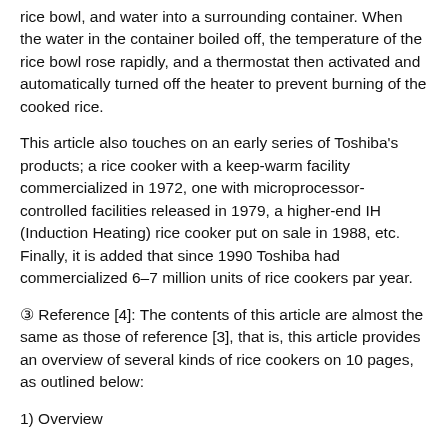rice bowl, and water into a surrounding container. When the water in the container boiled off, the temperature of the rice bowl rose rapidly, and a thermostat then activated and automatically turned off the heater to prevent burning of the cooked rice.
This article also touches on an early series of Toshiba's products; a rice cooker with a keep-warm facility commercialized in 1972, one with microprocessor-controlled facilities released in 1979, a higher-end IH (Induction Heating) rice cooker put on sale in 1988, etc. Finally, it is added that since 1990 Toshiba had commercialized 6–7 million units of rice cookers par year.
③ Reference [4]: The contents of this article are almost the same as those of reference [3], that is, this article provides an overview of several kinds of rice cookers on 10 pages, as outlined below:
1) Overview